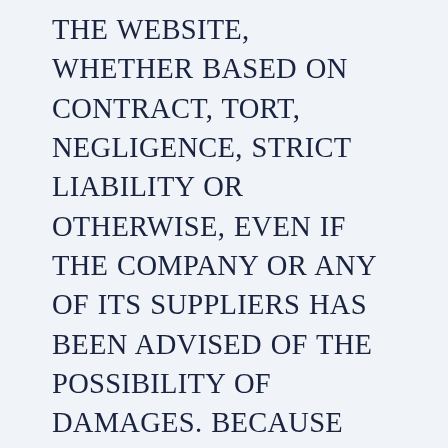THE WEBSITE, WHETHER BASED ON CONTRACT, TORT, NEGLIGENCE, STRICT LIABILITY OR OTHERWISE, EVEN IF THE COMPANY OR ANY OF ITS SUPPLIERS HAS BEEN ADVISED OF THE POSSIBILITY OF DAMAGES. BECAUSE SOME STATES/JURISDICTIONS DO NOT ALLOW THE EXCLUSION OR LIMITATION OF LIABILITY FOR CONSEQUENTIAL OR INCIDENTAL DAMAGES, THE ABOVE LIMITATION MAY NOT APPLY TO YOU. IF YOU ARE DISSATISFIED WITH ANY PORTION OF THE WEBSITE, OR WITH ANY OF THESE TERMS OF USE, YOUR SOLE AND